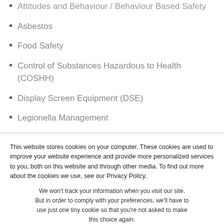Attitudes and Behaviour / Behaviour Based Safety
Asbestos
Food Safety
Control of Substances Hazardous to Health (COSHH)
Display Screen Equipment (DSE)
Legionella Management
Health and Safety Policy
This website stores cookies on your computer. These cookies are used to improve your website experience and provide more personalized services to you, both on this website and through other media. To find out more about the cookies we use, see our Privacy Policy.
We won't track your information when you visit our site. But in order to comply with your preferences, we'll have to use just one tiny cookie so that you're not asked to make this choice again.
Accept
Decline